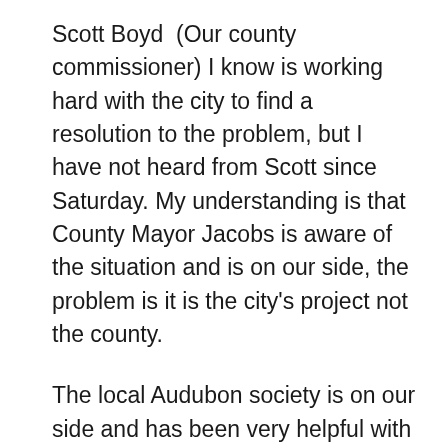Scott Boyd  (Our county commissioner) I know is working hard with the city to find a resolution to the problem, but I have not heard from Scott since Saturday. My understanding is that County Mayor Jacobs is aware of the situation and is on our side, the problem is it is the city's project not the county.
The local Audubon society is on our side and has been very helpful with providing information.